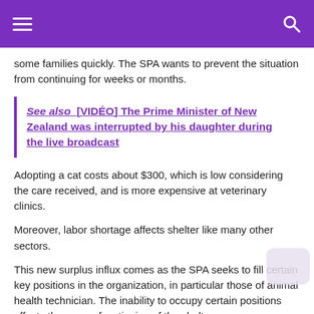☰  [menu]  [search]
some families quickly. The SPA wants to prevent the situation from continuing for weeks or months.
See also  [VIDÉO] The Prime Minister of New Zealand was interrupted by his daughter during the live broadcast
Adopting a cat costs about $300, which is low considering the care received, and is more expensive at veterinary clinics.
Moreover, labor shortage affects shelter like many other sectors.
This new surplus influx comes as the SPA seeks to fill certain key positions in the organization, in particular those of animal health technician. The inability to occupy certain positions affects the proper functioning of the shelter.